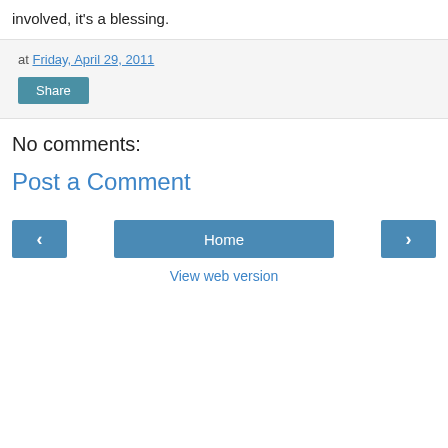involved, it's a blessing.
at Friday, April 29, 2011
Share
No comments:
Post a Comment
‹
Home
›
View web version